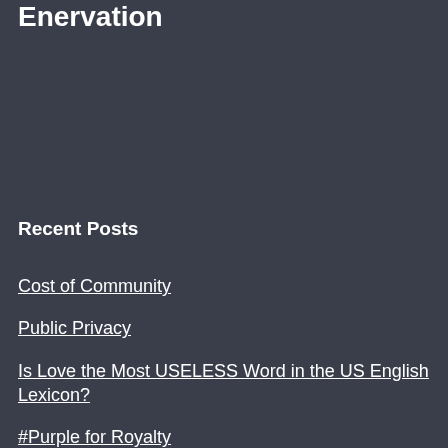Enervation
Recent Posts
Cost of Community
Public Privacy
Is Love the Most USELESS Word in the US English Lexicon?
#Purple for Royalty
Differing Views on Marriage Versus Importance